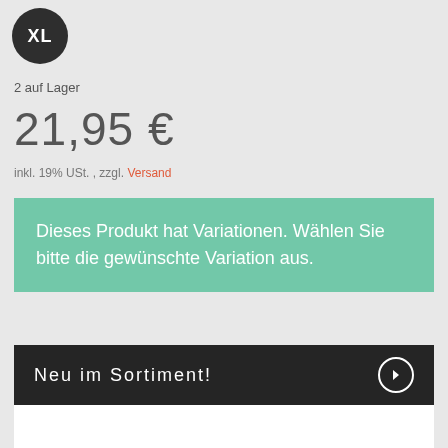[Figure (other): Dark circular badge with text XL in white]
2 auf Lager
21,95 €
inkl. 19% USt. , zzgl. Versand
Dieses Produkt hat Variationen. Wählen Sie bitte die gewünschte Variation aus.
Neu im Sortiment!